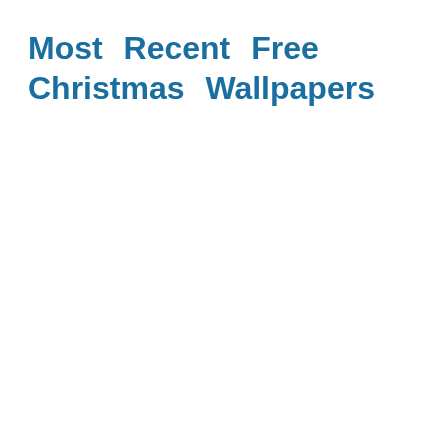Most Recent Free Christmas Wallpapers